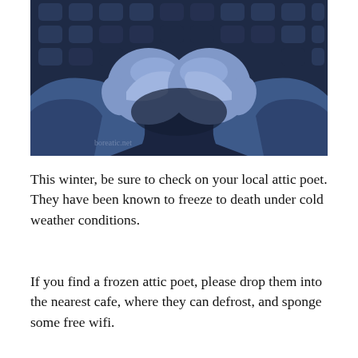[Figure (illustration): Digital illustration of two blue-toned hands (fists/cold hands) resting on a dark keyboard, arms in long sleeves visible, with a watermark reading 'boreatic.net' in the lower left of the image.]
This winter, be sure to check on your local attic poet. They have been known to freeze to death under cold weather conditions.
If you find a frozen attic poet, please drop them into the nearest cafe, where they can defrost, and sponge some free wifi.